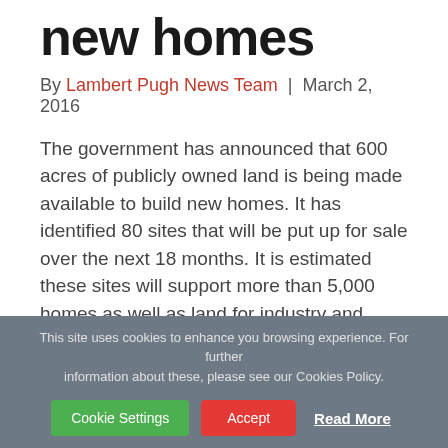new homes
By Lambert Pugh News Team | March 2, 2016
The government has announced that 600 acres of publicly owned land is being made available to build new homes. It has identified 80 sites that will be put up for sale over the next 18 months. It is estimated these sites will support more than 5,000 homes as well as land for industry and business....
Read More
This site uses cookies to enhance you browsing experience. For further information about these, please see our Cookies Policy. Cookie Settings | Accept | Read More